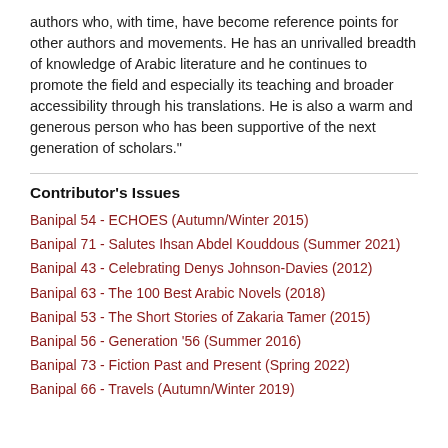authors who, with time, have become reference points for other authors and movements. He has an unrivalled breadth of knowledge of Arabic literature and he continues to promote the field and especially its teaching and broader accessibility through his translations. He is also a warm and generous person who has been supportive of the next generation of scholars."
Contributor's Issues
Banipal 54 - ECHOES (Autumn/Winter 2015)
Banipal 71 - Salutes Ihsan Abdel Kouddous (Summer 2021)
Banipal 43 - Celebrating Denys Johnson-Davies (2012)
Banipal 63 - The 100 Best Arabic Novels (2018)
Banipal 53 - The Short Stories of Zakaria Tamer (2015)
Banipal 56 - Generation '56 (Summer 2016)
Banipal 73 - Fiction Past and Present (Spring 2022)
Banipal 66 - Travels (Autumn/Winter 2019)